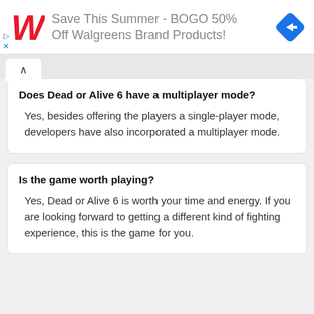[Figure (other): Walgreens advertisement banner: red Walgreens W logo on left, text 'Save This Summer - BOGO 50% Off Walgreens Brand Products!' in grey, blue navigation arrow icon on right.]
Does Dead or Alive 6 have a multiplayer mode?
Yes, besides offering the players a single-player mode, developers have also incorporated a multiplayer mode.
Is the game worth playing?
Yes, Dead or Alive 6 is worth your time and energy. If you are looking forward to getting a different kind of fighting experience, this is the game for you.